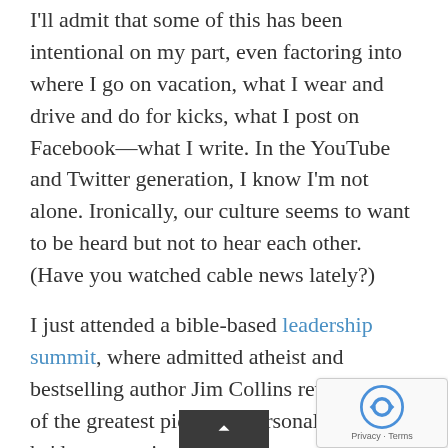I'll admit that some of this has been intentional on my part, even factoring into where I go on vacation, what I wear and drive and do for kicks, what I post on Facebook—what I write. In the YouTube and Twitter generation, I know I'm not alone. Ironically, our culture seems to want to be heard but not to hear each other. (Have you watched cable news lately?)
I just attended a bible-based leadership summit, where admitted atheist and bestselling author Jim Collins revealed one of the greatest pieces of personal advice he'd ever received: "Jim, you spend too much time trying to be interesting. Why don't you spend more time being interested?"
Of all the things said over two days of continuing education, that convicted me most. I'm working on this selfless task but have a long way to go. How 'bout you? How are you doing at investing in others' lives more